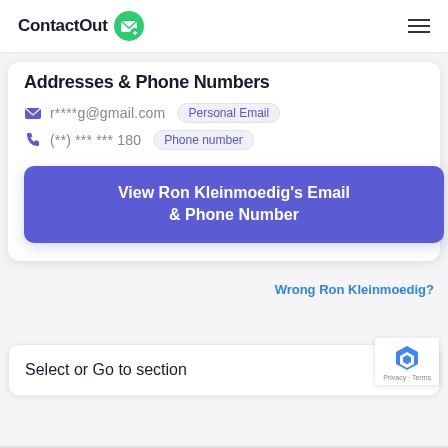ContactOut
Addresses & Phone Numbers
r****g@gmail.com  Personal Email
(**) *** *** 180  Phone number
View Ron Kleinmoedig's Email & Phone Number
Wrong Ron Kleinmoedig?
Select or Go to section